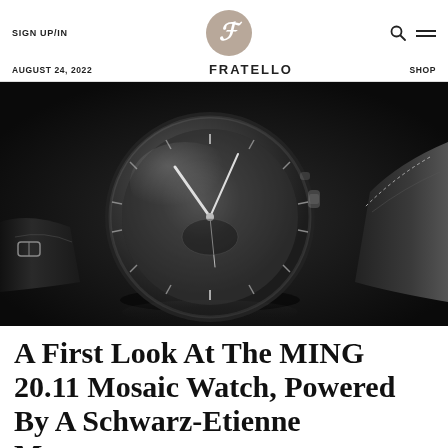SIGN UP/IN | FRATELLO | AUGUST 24, 2022 | SHOP
[Figure (photo): Close-up photograph of a MING 20.11 Mosaic watch with a dark skeletal dial and black leather strap on a dark reflective surface]
A First Look At The MING 20.11 Mosaic Watch, Powered By A Schwarz-Etienne Movement